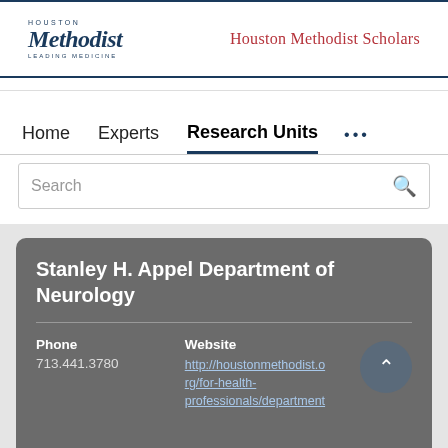Houston Methodist | Houston Methodist Scholars
Home   Experts   Research Units   ...
Search
Stanley H. Appel Department of Neurology
Phone
713.441.3780
Website
http://houstonmethodist.org/for-health-professionals/department